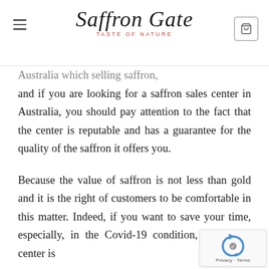Saffron Gate — Taste of Nature
There are several shops in Australia which selling saffron, and if you are looking for a saffron sales center in Australia, you should pay attention to the fact that the center is reputable and has a guarantee for the quality of the saffron it offers you.
Because the value of saffron is not less than gold and it is the right of customers to be comfortable in this matter. Indeed, if you want to save your time, especially, in the Covid-19 condition, the online center is